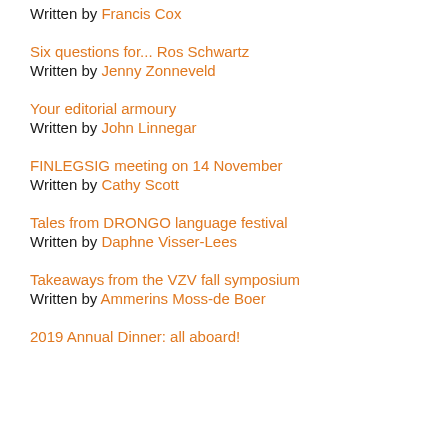Written by Francis Cox
Six questions for... Ros Schwartz
Written by Jenny Zonneveld
Your editorial armoury
Written by John Linnegar
FINLEGSIG meeting on 14 November
Written by Cathy Scott
Tales from DRONGO language festival
Written by Daphne Visser-Lees
Takeaways from the VZV fall symposium
Written by Ammerins Moss-de Boer
2019 Annual Dinner: all aboard!